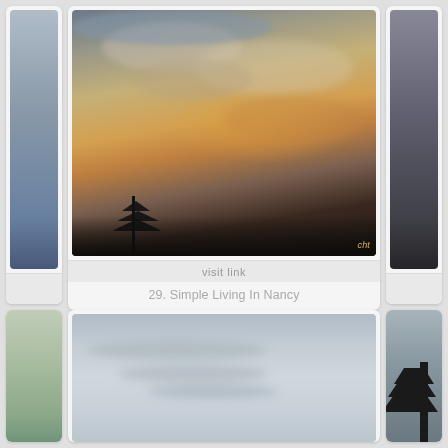[Figure (photo): Partial view of a blurred photo card on the left edge — dark stormy sky]
[Figure (photo): Sunset sky photo with dramatic clouds and silhouetted trees and buildings, watermark 'cht']
visit link
29. Simple Living In Nancy
[Figure (photo): Partial view of a dark stormy sky photo on the right edge]
[Figure (photo): Partial blurred green/nature photo on the left edge (bottom row)]
[Figure (photo): Grey overcast sky with wispy clouds]
[Figure (photo): Partial dark sky with conifer tree silhouette on the right edge (bottom row)]